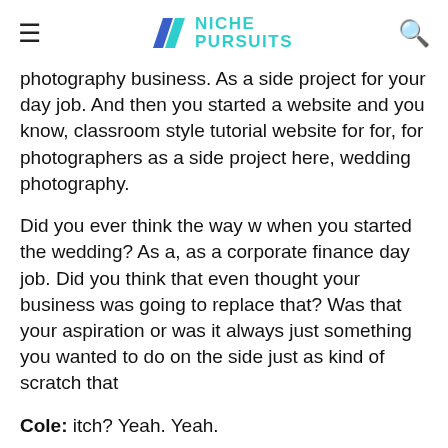NICHE PURSUITS
photography business. As a side project for your day job. And then you started a website and you know, classroom style tutorial website for for, for photographers as a side project here, wedding photography.
Did you ever think the way w when you started the wedding? As a, as a corporate finance day job. Did you think that even thought your business was going to replace that? Was that your aspiration or was it always just something you wanted to do on the side just as kind of scratch that
Cole: itch? Yeah. Yeah.